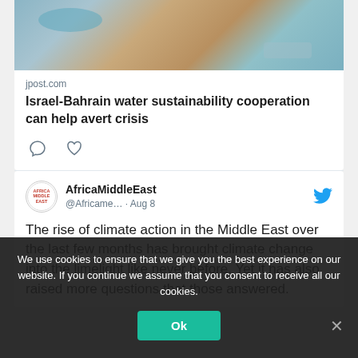[Figure (photo): Aerial photo of arid landscape with water pools and desert terrain]
jpost.com
Israel-Bahrain water sustainability cooperation can help avert crisis
[Figure (other): Comment and like icons (social interaction buttons)]
AfricaMiddleEast @Africame... · Aug 8
The rise of climate action in the Middle East over the last few months has brought climate change into the limelight like never before. Yet it has also raised more questions that those answered.
We use cookies to ensure that we give you the best experience on our website. If you continue we assume that you consent to receive all our cookies.